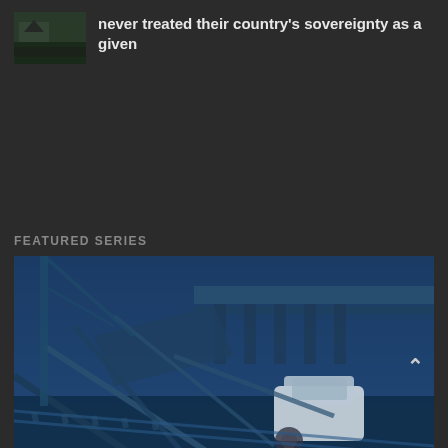[Figure (photo): Small thumbnail photo of a destruction/conflict scene (dark, outdoor)]
never treated their country's sovereignty as a given
FEATURED SERIES
[Figure (photo): Large blue-tinted photo of earthquake or disaster scene showing collapsed bridge structure with an overturned white vehicle and debris]